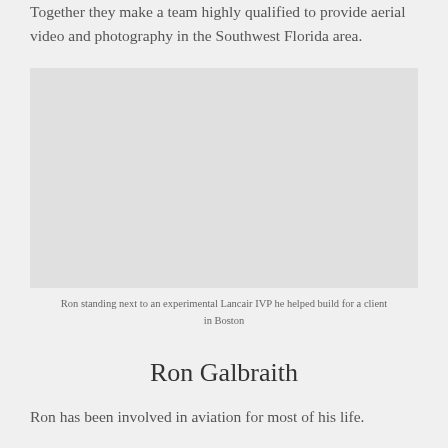Together they make a team highly qualified to provide aerial video and photography in the Southwest Florida area.
[Figure (photo): Photo of Ron standing next to an experimental Lancair IVP he helped build for a client in Boston]
Ron standing next to an experimental Lancair IVP he helped build for a client in Boston
Ron Galbraith
Ron has been involved in aviation for most of his life.